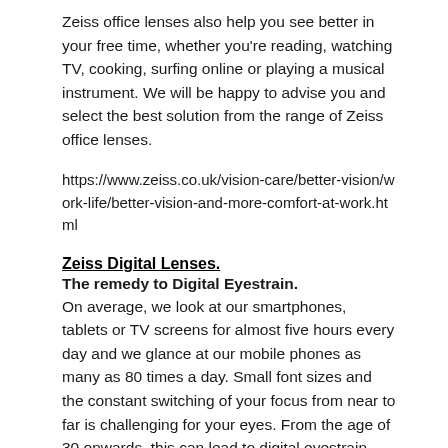Zeiss office lenses also help you see better in your free time, whether you're reading, watching TV, cooking, surfing online or playing a musical instrument. We will be happy to advise you and select the best solution from the range of Zeiss office lenses.
https://www.zeiss.co.uk/vision-care/better-vision/work-life/better-vision-and-more-comfort-at-work.html
Zeiss Digital Lenses.
The remedy to Digital Eyestrain.
On average, we look at our smartphones, tablets or TV screens for almost five hours every day and we glance at our mobile phones as many as 80 times a day. Small font sizes and the constant switching of your focus from near to far is challenging for your eyes. From the age of 30 onwards, this can lead to digital eyestrain. ZEISS Digital Lenses offer the perfect remedy by enabling fast, comfortable focusing between close-up, mid-range and distance.